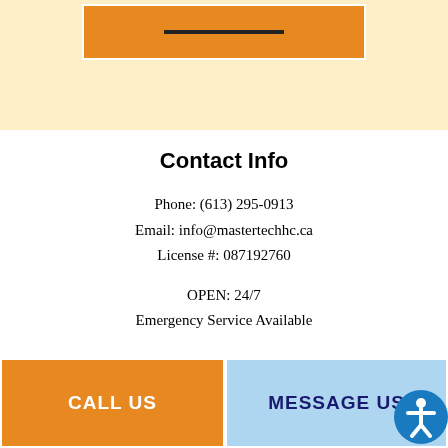[Figure (other): Orange button with dark underline on cream/yellow background banner at top]
Contact Info
Phone: (613) 295-0913
Email: info@mastertechhc.ca
License #: 087192760
OPEN: 24/7
Emergency Service Available
[Figure (other): Bottom bar with two buttons: orange CALL US button on left, light blue MESSAGE US button on right with accessibility icon]
CALL US
MESSAGE US